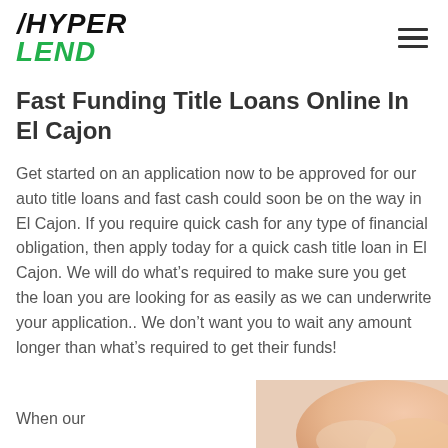[Figure (logo): HyperLend logo with HYPER in bold italic black and LEND in bold italic green]
Fast Funding Title Loans Online In El Cajon
Get started on an application now to be approved for our auto title loans and fast cash could soon be on the way in El Cajon. If you require quick cash for any type of financial obligation, then apply today for a quick cash title loan in El Cajon. We will do what's required to make sure you get the loan you are looking for as easily as we can underwrite your application.. We don't want you to wait any amount longer than what's required to get their funds!
When our
[Figure (photo): Partial image of a person's hand or skin, cropped at bottom right of page]